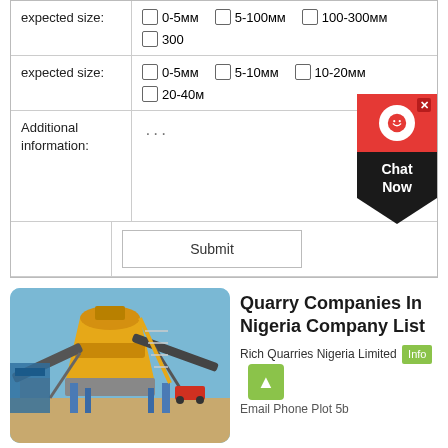| Label | Options |
| --- | --- |
| expected size: | ☐ 0-5мм  ☐ 5-100мм  ☐ 100-300мм  ☐ 300+ |
| expected size: | ☐ 0-5мм  ☐ 5-10мм  ☐ 10-20мм  ☐ 20-40м |
| Additional information: | ... |
|  | Submit |
[Figure (photo): Industrial quarry machinery - a large yellow cone crusher/grinding machine with conveyor belts at a quarry site, blue sky background]
Quarry Companies In Nigeria Company List
Rich Quarries Nigeria Limited Info Email Phone Plot 5b